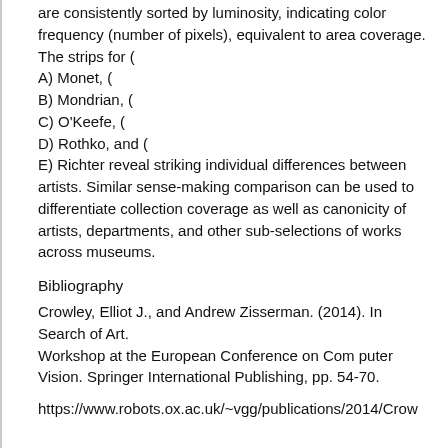are consistently sorted by luminosity, indicating color frequency (number of pixels), equivalent to area coverage. The strips for (
A) Monet, (
B) Mondrian, (
C) O'Keefe, (
D) Rothko, and (
E) Richter reveal striking individual differences between artists. Similar sense-making comparison can be used to differentiate collection coverage as well as canonicity of artists, departments, and other sub-selections of works across museums.
Bibliography
Crowley, Elliot J., and Andrew Zisserman. (2014). In Search of Art.
Workshop at the European Conference on Com puter Vision. Springer International Publishing, pp. 54-70.
https://www.robots.ox.ac.uk/~vgg/publications/2014/Crow